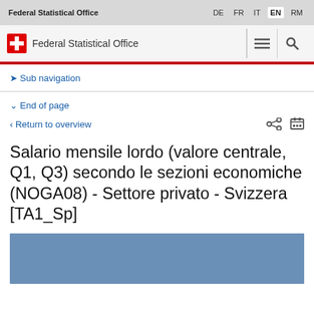Federal Statistical Office | DE FR IT EN RM
[Figure (logo): Swiss Federal Statistical Office logo with Swiss cross and office name]
Sub navigation
End of page
Return to overview
Salario mensile lordo (valore centrale, Q1, Q3) secondo le sezioni economiche (NOGA08) - Settore privato - Svizzera [TA1_Sp]
[Figure (other): Blue placeholder area for chart or table content]